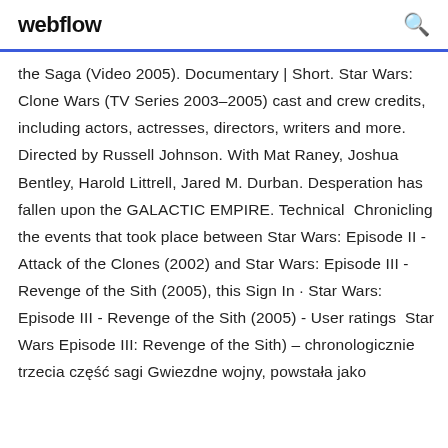webflow [search icon]
the Saga (Video 2005). Documentary | Short. Star Wars: Clone Wars (TV Series 2003–2005) cast and crew credits, including actors, actresses, directors, writers and more. Directed by Russell Johnson. With Mat Raney, Joshua Bentley, Harold Littrell, Jared M. Durban. Desperation has fallen upon the GALACTIC EMPIRE. Technical  Chronicling the events that took place between Star Wars: Episode II - Attack of the Clones (2002) and Star Wars: Episode III - Revenge of the Sith (2005), this Sign In · Star Wars: Episode III - Revenge of the Sith (2005) - User ratings  Star Wars Episode III: Revenge of the Sith) – chronologicznie trzecia część sagi Gwiezdne wojny, powstała jako